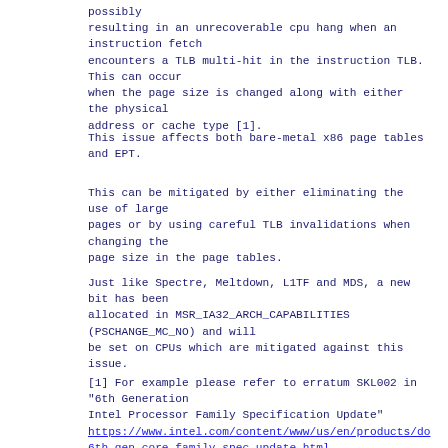possibly
resulting in an unrecoverable cpu hang when an instruction fetch
encounters a TLB multi-hit in the instruction TLB. This can occur
when the page size is changed along with either the physical
address or cache type [1].
This issue affects both bare-metal x86 page tables and EPT.
This can be mitigated by either eliminating the use of large
pages or by using careful TLB invalidations when changing the
page size in the page tables.
Just like Spectre, Meltdown, L1TF and MDS, a new bit has been
allocated in MSR_IA32_ARCH_CAPABILITIES (PSCHANGE_MC_NO) and will
be set on CPUs which are mitigated against this issue.
[1] For example please refer to erratum SKL002 in "6th Generation
Intel Processor Family Specification Update"
https://www.intel.com/content/www/us/en/products/do
6th-gen-core-family-spec-update.html